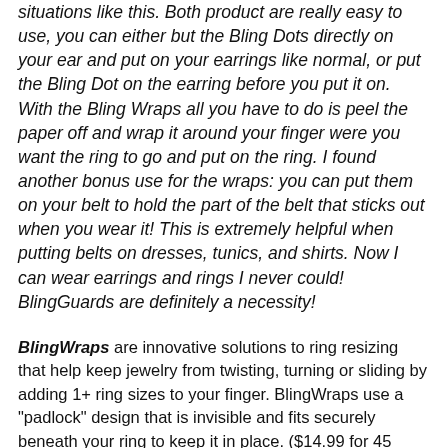situations like this. Both product are really easy to use, you can either but the Bling Dots directly on your ear and put on your earrings like normal, or put the Bling Dot on the earring before you put it on. With the Bling Wraps all you have to do is peel the paper off and wrap it around your finger were you want the ring to go and put on the ring. I found another bonus use for the wraps: you can put them on your belt to hold the part of the belt that sticks out when you wear it! This is extremely helpful when putting belts on dresses, tunics, and shirts. Now I can wear earrings and rings I never could! BlingGuards are definitely a necessity!
BlingWraps are innovative solutions to ring resizing that help keep jewelry from twisting, turning or sliding by adding 1+ ring sizes to your finger. BlingWraps use a "padlock" design that is invisible and fits securely beneath your ring to keep it in place. ($14.99 for 45 pairs)
BlingDots are earring supports and stabilizers that ensure comfortable and positioned earrings perfectly on the ear. They are mad of hypoallergenic foam that provides comfort